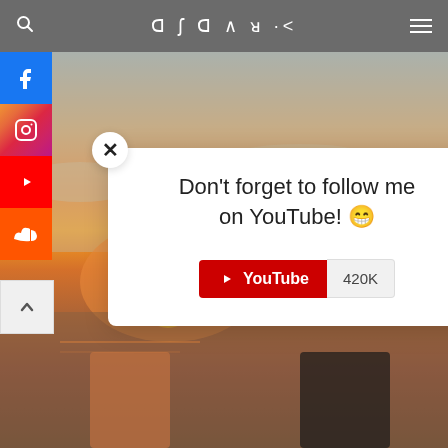DJ DARK — navigation bar with search and menu icons
[Figure (photo): A couple standing on a boat/dock at sunset over water, warm orange and golden sky with sun visible on the horizon.]
Don't forget to follow me on YouTube! 😁
YouTube 420K